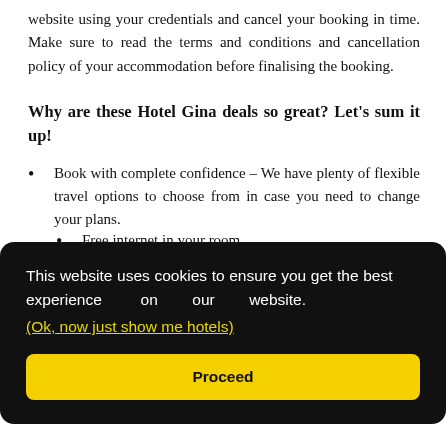website using your credentials and cancel your booking in time. Make sure to read the terms and conditions and cancellation policy of your accommodation before finalising the booking.
Why are these Hotel Gina deals so great? Let's sum it up!
Book with complete confidence – We have plenty of flexible travel options to choose from in case you need to change your plans.
ments
This website uses cookies to ensure you get the best experience on our website. (Ok, now just show me hotels)
Proceed
Free internet in your room